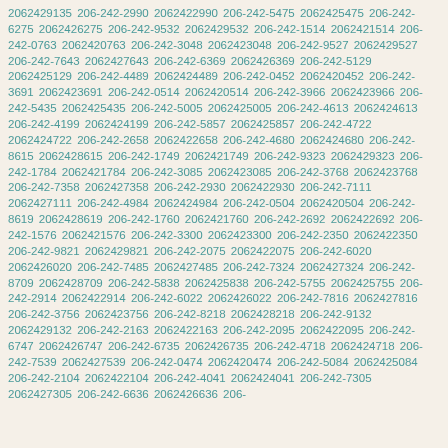2062429135 206-242-2990 2062422990 206-242-5475 2062425475 206-242-6275 2062426275 206-242-9532 2062429532 206-242-1514 2062421514 206-242-0763 2062420763 206-242-3048 2062423048 206-242-9527 2062429527 206-242-7643 2062427643 206-242-6369 2062426369 206-242-5129 2062425129 206-242-4489 2062424489 206-242-0452 2062420452 206-242-3691 2062423691 206-242-0514 2062420514 206-242-3966 2062423966 206-242-5435 2062425435 206-242-5005 2062425005 206-242-4613 2062424613 206-242-4199 2062424199 206-242-5857 2062425857 206-242-4722 2062424722 206-242-2658 2062422658 206-242-4680 2062424680 206-242-8615 2062428615 206-242-1749 2062421749 206-242-9323 2062429323 206-242-1784 2062421784 206-242-3085 2062423085 206-242-3768 2062423768 206-242-7358 2062427358 206-242-2930 2062422930 206-242-7111 2062427111 206-242-4984 2062424984 206-242-0504 2062420504 206-242-8619 2062428619 206-242-1760 2062421760 206-242-2692 2062422692 206-242-1576 2062421576 206-242-3300 2062423300 206-242-2350 2062422350 206-242-9821 2062429821 206-242-2075 2062422075 206-242-6020 2062426020 206-242-7485 2062427485 206-242-7324 2062427324 206-242-8709 2062428709 206-242-5838 2062425838 206-242-5755 2062425755 206-242-2914 2062422914 206-242-6022 2062426022 206-242-7816 2062427816 206-242-3756 2062423756 206-242-8218 2062428218 206-242-9132 2062429132 206-242-2163 2062422163 206-242-2095 2062422095 206-242-6747 2062426747 206-242-6735 2062426735 206-242-4718 2062424718 206-242-7539 2062427539 206-242-0474 2062420474 206-242-5084 2062425084 206-242-2104 2062422104 206-242-4041 2062424041 206-242-7305 2062427305 206-242-6636 2062426636 206-